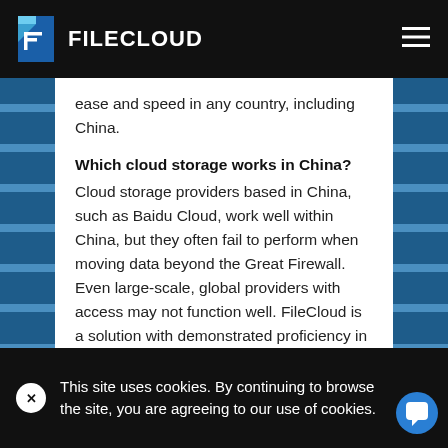FILECLOUD
ease and speed in any country, including China.
Which cloud storage works in China?
Cloud storage providers based in China, such as Baidu Cloud, work well within China, but they often fail to perform when moving data beyond the Great Firewall. Even large-scale, global providers with access may not function well. FileCloud is a solution with demonstrated proficiency in access, speed, and
This site uses cookies. By continuing to browse the site, you are agreeing to our use of cookies.